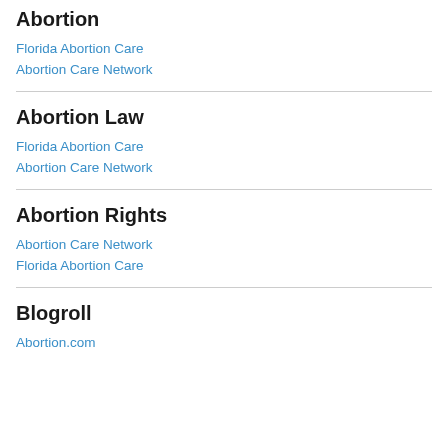Abortion
Florida Abortion Care
Abortion Care Network
Abortion Law
Florida Abortion Care
Abortion Care Network
Abortion Rights
Abortion Care Network
Florida Abortion Care
Blogroll
Abortion.com